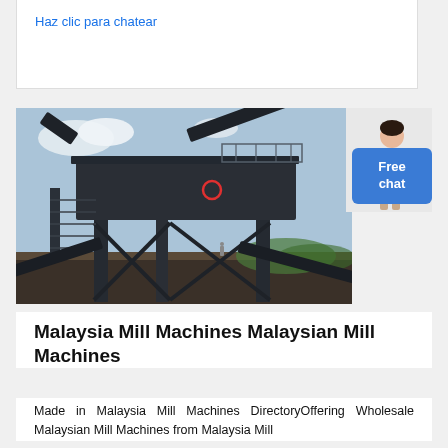Haz clic para chatear
[Figure (photo): Industrial mill machine / screening plant equipment outdoors with a large elevated structure, conveyor belts, metal framework and stairs, with cloudy sky background. A red circle marker is visible on the machine body.]
Malaysia Mill Machines Malaysian Mill Machines
Made in Malaysia Mill Machines DirectoryOffering Wholesale Malaysian Mill Machines from Malaysia Mill